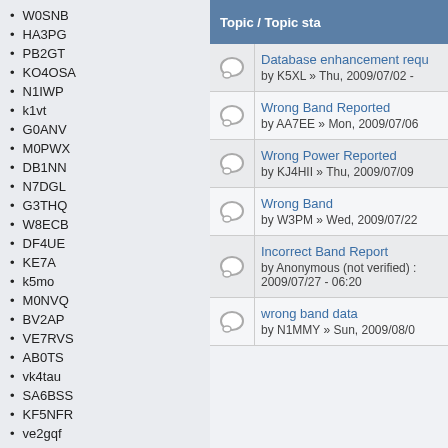W0SNB
HA3PG
PB2GT
KO4OSA
N1IWP
k1vt
G0ANV
M0PWX
DB1NN
N7DGL
G3THQ
W8ECB
DF4UE
KE7A
k5mo
M0NVQ
BV2AP
VE7RVS
AB0TS
vk4tau
SA6BSS
KF5NFR
ve2gqf
AI7MG
KA9QJT
K8RGC
w5tte
Topic / Topic sta
Database enhancement requ
by K5XL » Thu, 2009/07/02 -
Wrong Band Reported
by AA7EE » Mon, 2009/07/06
Wrong Power Reported
by KJ4HII » Thu, 2009/07/09
Wrong Band
by W3PM » Wed, 2009/07/22
Incorrect Band Report
by Anonymous (not verified) :
2009/07/27 - 06:20
wrong band data
by N1MMY » Sun, 2009/08/0